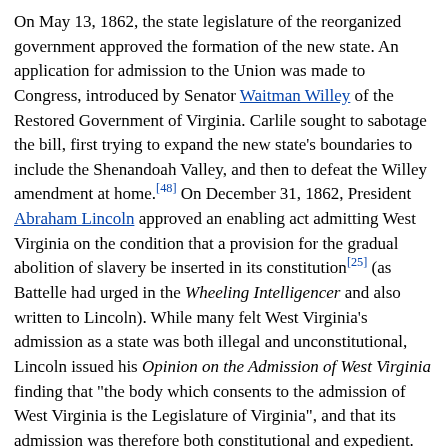On May 13, 1862, the state legislature of the reorganized government approved the formation of the new state. An application for admission to the Union was made to Congress, introduced by Senator Waitman Willey of the Restored Government of Virginia. Carlile sought to sabotage the bill, first trying to expand the new state's boundaries to include the Shenandoah Valley, and then to defeat the Willey amendment at home.[48] On December 31, 1862, President Abraham Lincoln approved an enabling act admitting West Virginia on the condition that a provision for the gradual abolition of slavery be inserted in its constitution[25] (as Battelle had urged in the Wheeling Intelligencer and also written to Lincoln). While many felt West Virginia's admission as a state was both illegal and unconstitutional, Lincoln issued his Opinion on the Admission of West Virginia finding that "the body which consents to the admission of West Virginia is the Legislature of Virginia", and that its admission was therefore both constitutional and expedient.[49]
The convention was reconvened on February 12, 1863, and the abolition demand of the federal enabling act was met. The revised constitution was adopted on March 26, 1863, and on April 20, 1863, Lincoln issued a proclamation admitting the state 60 days later on June 20, 1863. Meanwhile, officers for the new state were chosen, while Pierpont moved his pro-Union Virginia capital to